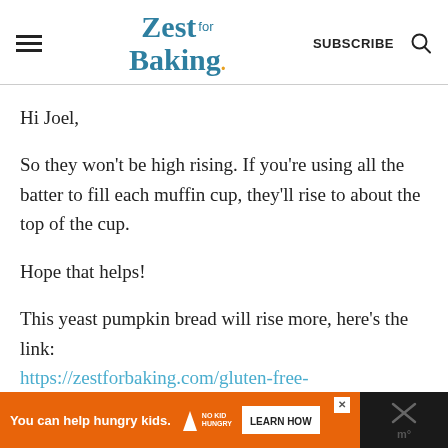Zest for Baking | SUBSCRIBE
Hi Joel,
So they won't be high rising. If you're using all the batter to fill each muffin cup, they'll rise to about the top of the cup.
Hope that helps!
This yeast pumpkin bread will rise more, here's the link:
https://zestforbaking.com/gluten-free-
You can help hungry kids. NO KID HUNGRY LEARN HOW